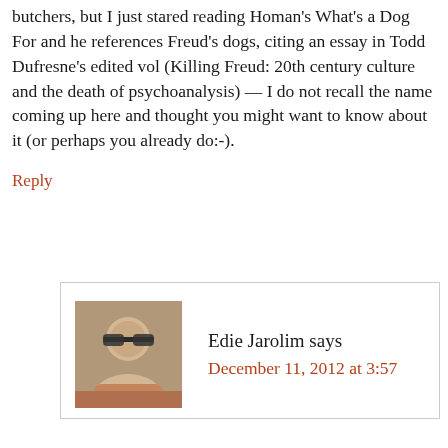butchers, but I just stared reading Homan's What's a Dog For and he references Freud's dogs, citing an essay in Todd Dufresne's edited vol (Killing Freud: 20th century culture and the death of psychoanalysis) — I do not recall the name coming up here and thought you might want to know about it (or perhaps you already do:-).
Reply
Edie Jarolim says
December 11, 2012 at 3:57